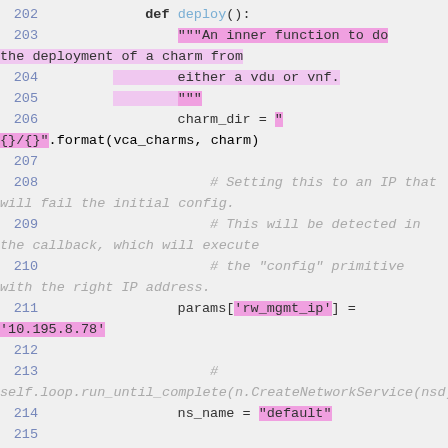202    def deploy():
203    """An inner function to do the deployment of a charm from
204         either a vdu or vnf.
205         """
206    charm_dir = "{}/{}".format(vca_charms, charm)
207
208    # Setting this to an IP that will fail the initial config.
209    # This will be detected in the callback, which will execute
210    # the "config" primitive with the right IP address.
211    params['rw_mgmt_ip'] = '10.195.8.78'
212
213    # self.loop.run_until_complete(n.CreateNetworkService(nsd)
214    ns_name = "default"
215
216    vnf_name = self.n2vc.FormatApplicationName(
217         ns_name,
218         vnfd['name']